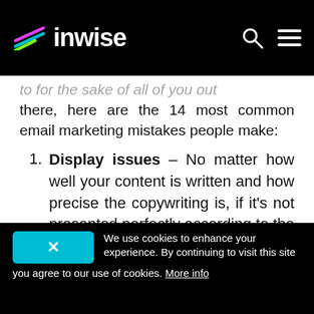inwise
to for the sake of all of you out there, here are the 14 most common email marketing mistakes people make:
Display issues – No matter how well your content is written and how precise the copywriting is, if it's not presented perfectly according to the screen display
We use cookies to enhance your experience. By continuing to visit this site you agree to our use of cookies. More info